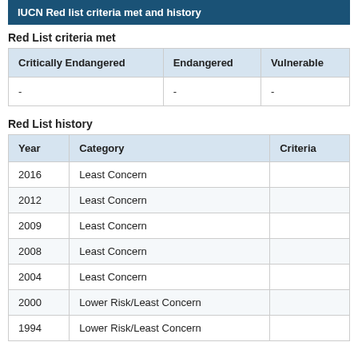IUCN Red list criteria met and history
Red List criteria met
| Critically Endangered | Endangered | Vulnerable |
| --- | --- | --- |
| - | - | - |
Red List history
| Year | Category | Criteria |
| --- | --- | --- |
| 2016 | Least Concern |  |
| 2012 | Least Concern |  |
| 2009 | Least Concern |  |
| 2008 | Least Concern |  |
| 2004 | Least Concern |  |
| 2000 | Lower Risk/Least Concern |  |
| 1994 | Lower Risk/Least Concern |  |